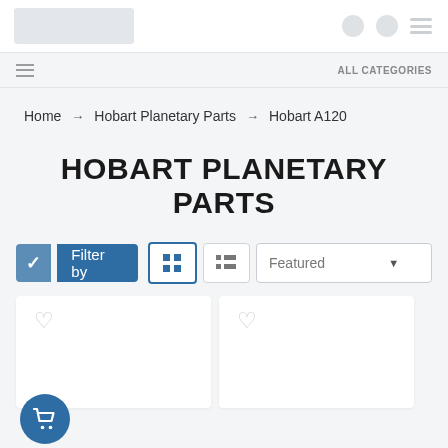RPM Parts — Header with logo and navigation icons
≡   ALL CATEGORIES
Home → Hobart Planetary Parts → Hobart A120
HOBART PLANETARY PARTS
✓ Filter by  ⊞  ≡  Featured ▼
[Figure (screenshot): Two product cards with heart/wishlist icons in a grid layout, and a floating cart button in the bottom left corner]